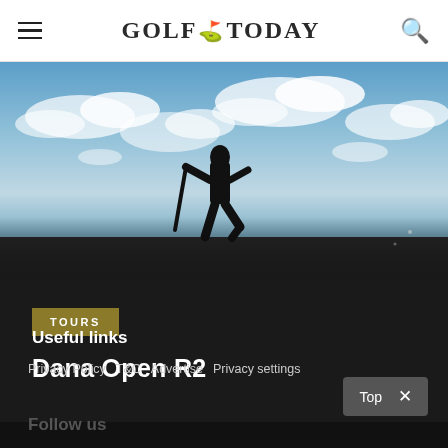GOLF TODAY — navigation header with hamburger menu and search icon
[Figure (photo): Silhouette of a golfer against a blue cloudy sky, viewed from behind, dark ground at bottom]
TOURS
Dana Open R2
Useful links
Privacy Policy   T&C   Advertise   Privacy settings
Follow us
Top  ×